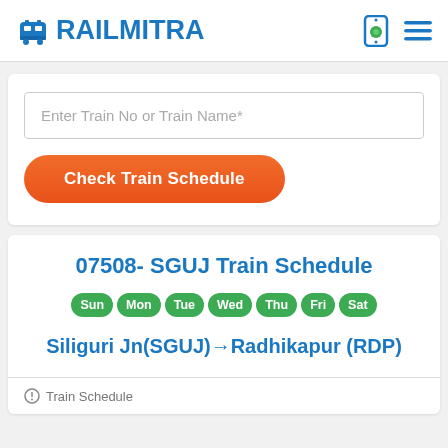RAILMITRA
Enter Train No or Train Name*
Check Train Schedule
07508- SGUJ Train Schedule
Sun Mon Tue Wed Thu Fri Sat
Siliguri Jn(SGUJ)→Radhikapur (RDP)